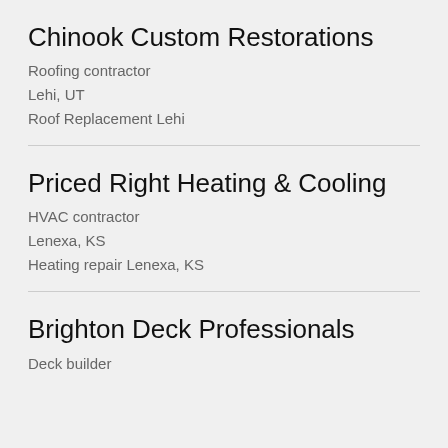Chinook Custom Restorations
Roofing contractor
Lehi, UT
Roof Replacement Lehi
Priced Right Heating & Cooling
HVAC contractor
Lenexa, KS
Heating repair Lenexa, KS
Brighton Deck Professionals
Deck builder